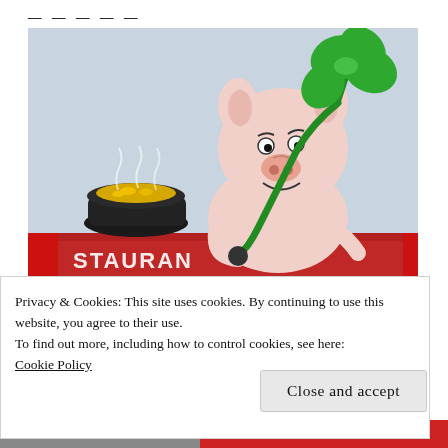[Figure (illustration): Cartoon illustration of a smiling pink pig holding a large green four-leaf clover in one hand and a green pipe in the other, with a steaming black cauldron of gold coins in front. Below the pig is a red wooden sign with partially visible text reading 'RESTAURANT' or similar.]
Privacy & Cookies: This site uses cookies. By continuing to use this website, you agree to their use.
To find out more, including how to control cookies, see here:
Cookie Policy
Close and accept